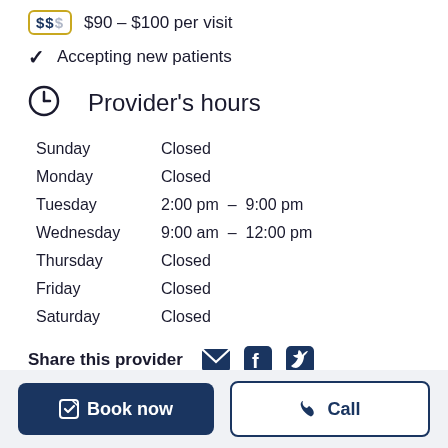$$$ $90 – $100 per visit
✓ Accepting new patients
Provider's hours
| Day | Hours |
| --- | --- |
| Sunday | Closed |
| Monday | Closed |
| Tuesday | 2:00 pm  –  9:00 pm |
| Wednesday | 9:00 am  –  12:00 pm |
| Thursday | Closed |
| Friday | Closed |
| Saturday | Closed |
Share this provider
Book now
Call